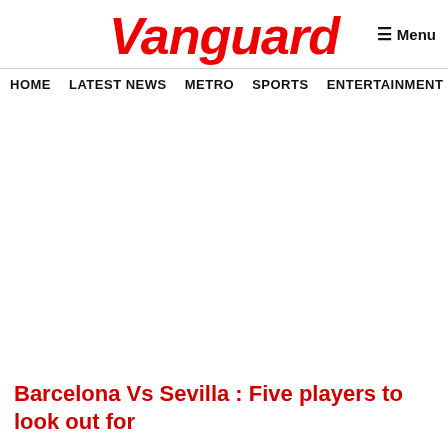Vanguard
≡ Menu
HOME | LATEST NEWS | METRO | SPORTS | ENTERTAINMENT | VIDEOS
Barcelona Vs Sevilla : Five players to look out for